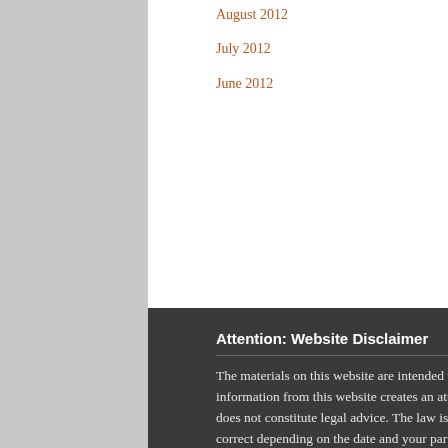August 2012
July 2012
June 2012
Attention: Website Disclaimer
The materials on this website are intended to be for informational purposes only. Neither this website nor use of information from this website creates an attorney-client relationship. The information contained on this website does not constitute legal advice. The law is constantly changing and the information may not be complete or correct depending on the date and your particular legal problem. Each legal problem depends on its individual facts and different jurisdictions have different laws and regulations. Because of these differences,